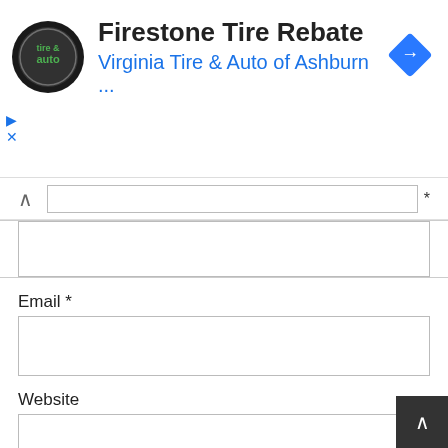[Figure (screenshot): Ad banner for Firestone Tire Rebate at Virginia Tire & Auto of Ashburn with logo and navigation icon]
* (collapsed name field indicator)
Email *
Website
Post Comment
This site uses Akismet to reduce spam. Learn how your comment data is processed.